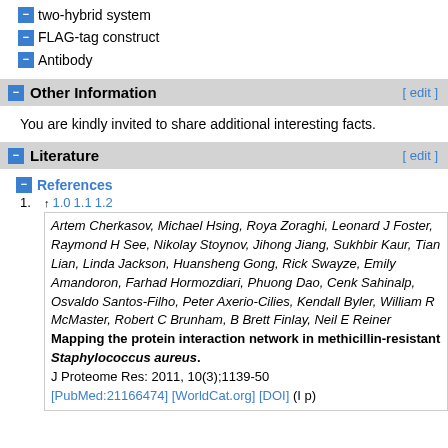two-hybrid system
FLAG-tag construct
Antibody
Other Information
You are kindly invited to share additional interesting facts.
Literature
References
1. ↑ 1.0 1.1 1.2 Artem Cherkasov, Michael Hsing, Roya Zoraghi, Leonard J Foster, Raymond H See, Nikolay Stoynov, Jihong Jiang, Sukhbir Kaur, Tian Lian, Linda Jackson, Huansheng Gong, Rick Swayze, Emily Amandoron, Farhad Hormozdiari, Phuong Dao, Cenk Sahinalp, Osvaldo Santos-Filho, Peter Axerio-Cilies, Kendall Byler, William R McMaster, Robert C Brunham, B Brett Finlay, Neil E Reiner Mapping the protein interaction network in methicillin-resistant Staphylococcus aureus. J Proteome Res: 2011, 10(3);1139-50 [PubMed:21166474] [WorldCat.org] [DOI] (I p)